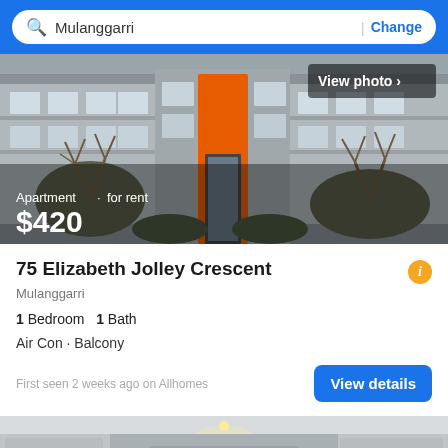Mulanggarri | Change
[Figure (photo): Exterior photo of an apartment building with orange entrance feature, bare winter trees in foreground, balconies visible. Text overlay: 'View photo >', 'Apartment · for rent', '$420']
75 Elizabeth Jolley Crescent
Mulanggarri
1 Bedroom   1 Bath
Air Con · Balcony
First seen 2 weeks ago on Allhomes
[Figure (photo): Partial interior photo of apartment kitchen/living area with white cabinets and downlights. Filter button and scroll-up button overlaid at bottom.]